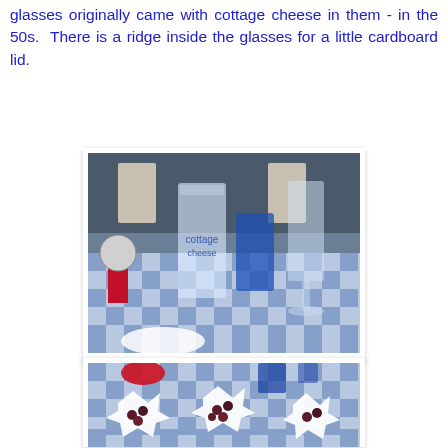glasses originally came with cottage cheese in them - in the 50s.  There is a ridge inside the glasses for a little cardboard lid.
[Figure (photo): Photo of vintage cottage cheese glasses on a blue gingham checkered tablecloth. A tall clear glass with blue print design, a blue glass tumbler, and a stemmed glass are visible. A red decorative object is in the background left. White bowl visible at bottom.]
[Figure (photo): Photo of white star/flower shaped bowls containing dark cherries or grapes on a blue gingham checkered tablecloth. Blue glassware and red decorative items visible in background.]